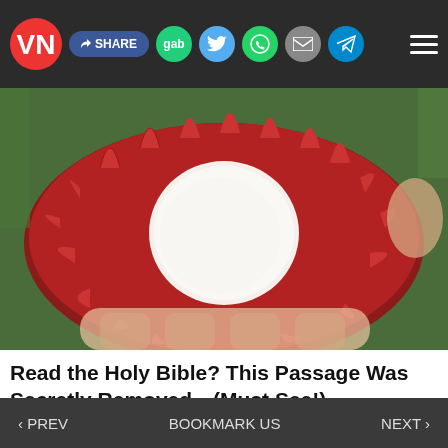VN | f SHARE | gab | Twitter | WhatsApp | Email | Telegram | Menu
[Figure (photo): Close-up photo of a hand holding an open rambutan fruit, showing its red spiky exterior and white interior flesh, with green foliage in the background.]
Read the Holy Bible? This Passage Was Secretly Removed...(Must See!)
‹ PREV    BOOKMARK US    NEXT ›